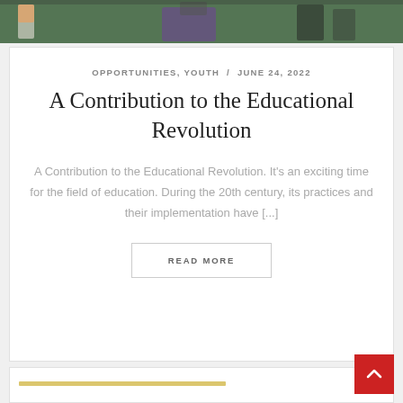[Figure (photo): Top photo strip showing students in a classroom/educational setting with green background, chairs visible]
OPPORTUNITIES, YOUTH / JUNE 24, 2022
A Contribution to the Educational Revolution
A Contribution to the Educational Revolution. It's an exciting time for the field of education. During the 20th century, its practices and their implementation have [...]
READ MORE
[Figure (photo): Bottom partial card with a gold/yellow horizontal line element visible at top]